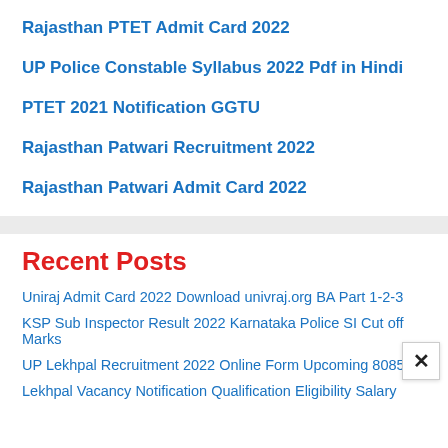Rajasthan PTET Admit Card 2022
UP Police Constable Syllabus 2022 Pdf in Hindi
PTET 2021 Notification GGTU
Rajasthan Patwari Recruitment 2022
Rajasthan Patwari Admit Card 2022
Recent Posts
Uniraj Admit Card 2022 Download univraj.org BA Part 1-2-3
KSP Sub Inspector Result 2022 Karnataka Police SI Cut off Marks
UP Lekhpal Recruitment 2022 Online Form Upcoming 8085
Lekhpal Vacancy Notification Qualification Eligibility Salary